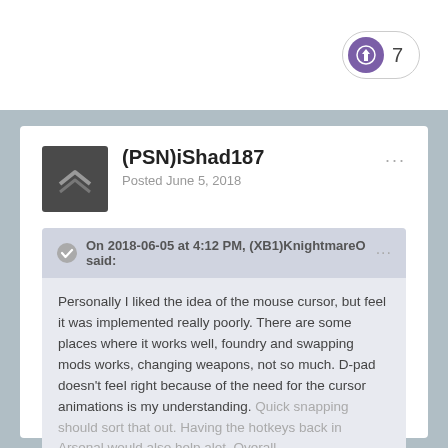[Figure (other): Purple badge pill with directional icon and number 7]
(PSN)iShad187
Posted June 5, 2018
On 2018-06-05 at 4:12 PM, (XB1)KnightmareO said:
Personally I liked the idea of the mouse cursor, but feel it was implemented really poorly. There are some places where it works well, foundry and swapping mods works, changing weapons, not so much. D-pad doesn't feel right because of the need for the cursor animations is my understanding. Quick snapping should sort that out. Having the hotkeys back in Arsenal would also help alot. Overall
Expand
I totally agree!